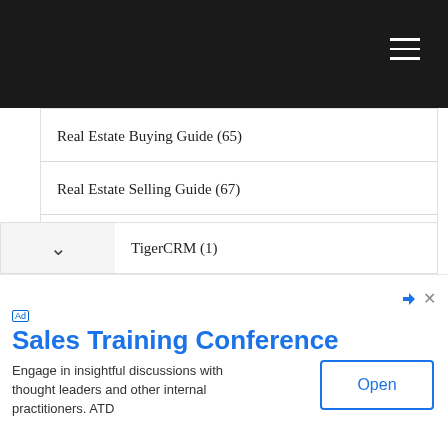Real Estate Buying Guide (65)
Real Estate Selling Guide (67)
Search Engine Optimization (SEO) (70)
Social Media Marketing Guide (66)
SuiteCRM (1)
Support (9)
Travel Guide (73)
TigerCRM (1)
Sales Training Conference
Engage in insightful discussions with thought leaders and other internal practitioners. ATD